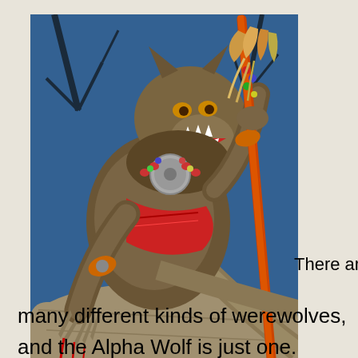[Figure (illustration): A fantasy illustration of a werewolf creature wearing Native American-style jewelry and accessories (beaded necklace, feathered staff, armband), crouching on a tree branch with claws dripping blood, snarling with mouth open showing teeth. Background shows a blue night sky with bare trees.]
There are
many different kinds of werewolves, and the Alpha Wolf is just one. Although some may